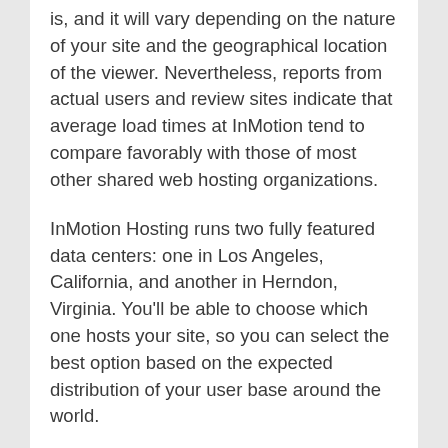is, and it will vary depending on the nature of your site and the geographical location of the viewer. Nevertheless, reports from actual users and review sites indicate that average load times at InMotion tend to compare favorably with those of most other shared web hosting organizations.
InMotion Hosting runs two fully featured data centers: one in Los Angeles, California, and another in Herndon, Virginia. You'll be able to choose which one hosts your site, so you can select the best option based on the expected distribution of your user base around the world.
Excellent Uptime